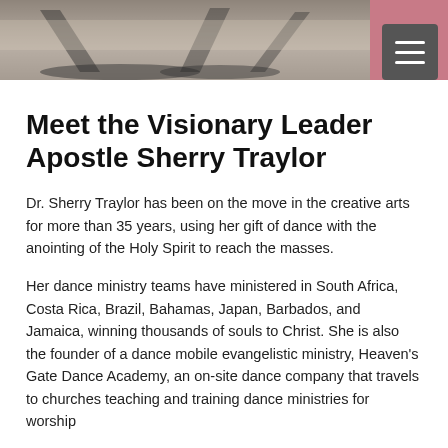[Figure (photo): Header photo strip showing silhouette shadows on pavement, with a pink/mauve background and a dark hamburger menu button in the top right corner.]
Meet the Visionary Leader Apostle Sherry Traylor
Dr. Sherry Traylor has been on the move in the creative arts for more than 35 years, using her gift of dance with the anointing of the Holy Spirit to reach the masses.
Her dance ministry teams have ministered in South Africa, Costa Rica, Brazil, Bahamas, Japan, Barbados, and Jamaica, winning thousands of souls to Christ. She is also the founder of a dance mobile evangelistic ministry, Heaven's Gate Dance Academy, an on-site dance company that travels to churches teaching and training dance ministries for worship